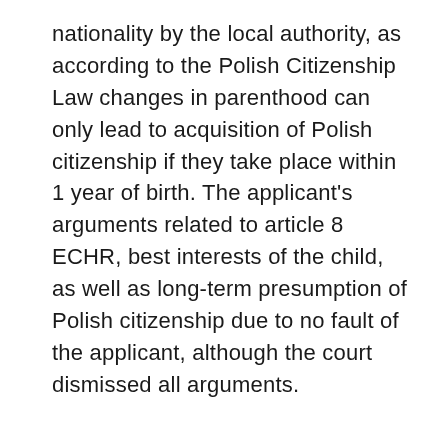nationality by the local authority, as according to the Polish Citizenship Law changes in parenthood can only lead to acquisition of Polish citizenship if they take place within 1 year of birth. The applicant's arguments related to article 8 ECHR, best interests of the child, as well as long-term presumption of Polish citizenship due to no fault of the applicant, although the court dismissed all arguments.